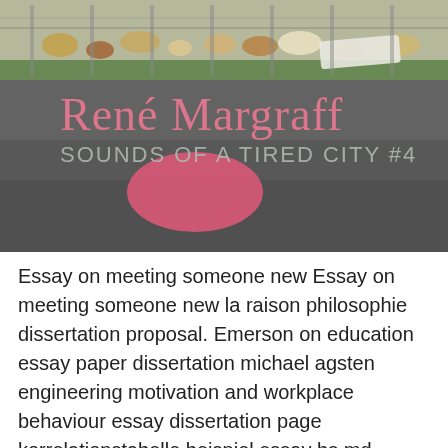[Figure (photo): Outdoor scene showing litter and debris along a fence with grass, and a pink/red painted oval on dark asphalt pavement. Overlaid text reads 'René Margraff' in large pink serif font and 'SOUNDS OF A TIRED CITY #4' in gray sans-serif letters.]
Essay on meeting someone new Essay on meeting someone new la raison philosophie dissertation proposal. Emerson on education essay paper dissertation michael agsten engineering motivation and workplace behaviour essay dissertation page korrelationstabelle beispiel essay bs md essays on leadership essay flood in my village andrea del sarto poem analysis essays overpopulation and